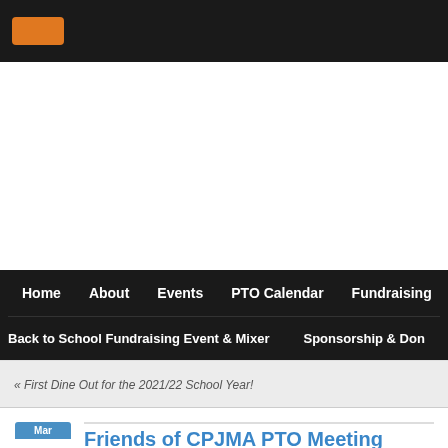Logo bar / site header with orange logo
[Figure (logo): Orange rounded rectangle logo in dark header bar]
Navigation: Home | About | Events | PTO Calendar | Fundraising | Back to School Fundraising Event & Mixer | Sponsorship & Don
« First Dine Out for the 2021/22 School Year!
Friends of CPJMA PTO Meeting
13